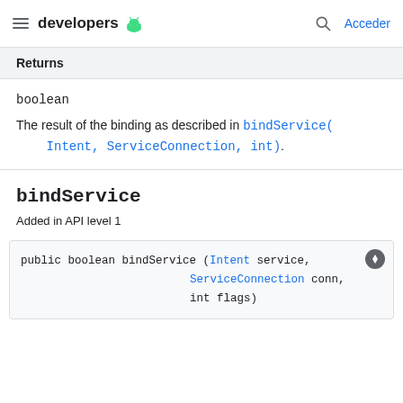developers [Android logo] [search] Acceder
Returns
boolean
The result of the binding as described in bindService(Intent, ServiceConnection, int).
bindService
Added in API level 1
public boolean bindService (Intent service,
                            ServiceConnection conn,
                            int flags)